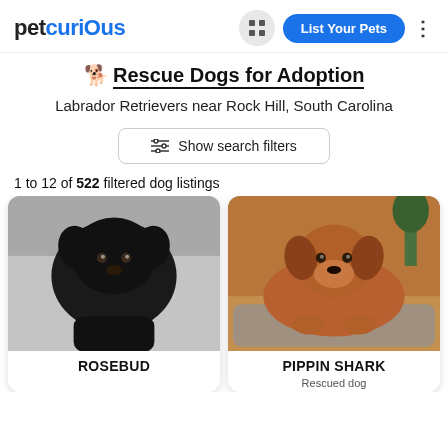petcurious | List Your Pets
Rescue Dogs for Adoption
Labrador Retrievers near Rock Hill, South Carolina
Show search filters
1 to 12 of 522 filtered dog listings
[Figure (photo): Black Labrador puppy looking up at camera, black and white photo]
ROSEBUD
[Figure (photo): Brown Staffordshire-type dog lying on a grey dog bed on a hardwood floor]
PIPPIN SHARK